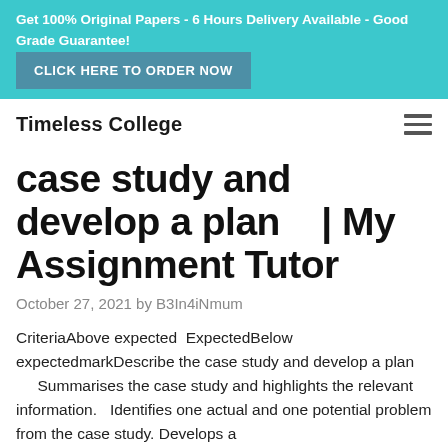Get 100% Original Papers - 6 Hours Delivery Available - Good Grade Guarantee! CLICK HERE TO ORDER NOW
Timeless College
case study and develop a plan    | My Assignment Tutor
October 27, 2021 by B3In4iNmum
CriteriaAbove expected  ExpectedBelow expectedmarkDescribe the case study and develop a plan      Summarises the case study and highlights the relevant information.   Identifies one actual and one potential problem from the case study.  Develops a